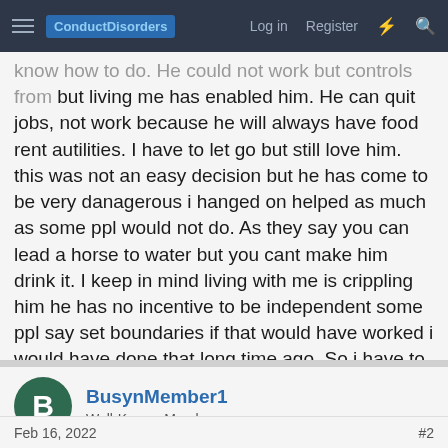ConductDisorders | Log in | Register
but living me has enabled him. He can quit jobs, not work because he will always have food rent autilities. I have to let go but still love him. this was not an easy decision but he has come to be very danagerous i hanged on helped as much as some ppl would not do. As they say you can lead a horse to water but you cant make him drink it. I keep in mind living with me is crippling him he has no incentive to be independent some ppl say set boundaries if that would have worked i would have done that long time ago. So i have to evict
Reply
BusynMember1
Well-Known Member
Feb 16, 2022  #2